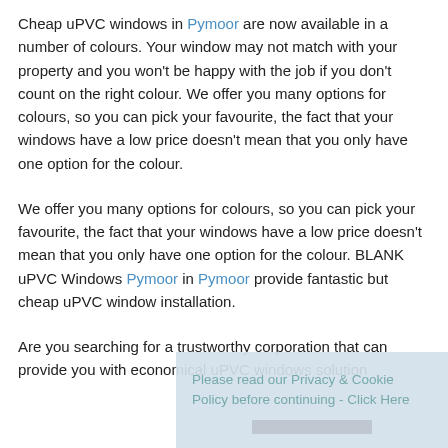Cheap uPVC windows in Pymoor are now available in a number of colours. Your window may not match with your property and you won't be happy with the job if you don't count on the right colour. We offer you many options for colours, so you can pick your favourite, the fact that your windows have a low price doesn't mean that you only have one option for the colour.
We offer you many options for colours, so you can pick your favourite, the fact that your windows have a low price doesn't mean that you only have one option for the colour. BLANK uPVC Windows Pymoor in Pymoor provide fantastic but cheap uPVC window installation.
Are you searching for a trustworthy corporation that can provide you with economical uPVC windows solution...